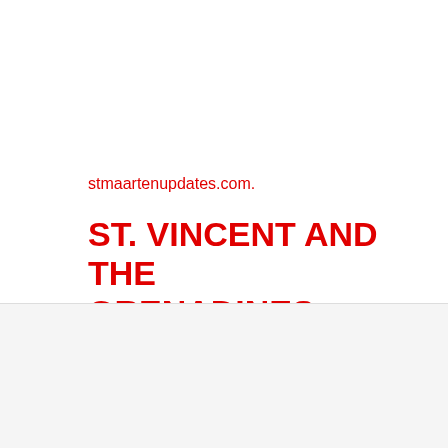stmaartenupdates.com.
ST. VINCENT AND THE GRENADINES
We use cookies on our website to see how you interact with it. By accepting, you agree to our use of such cookies. See Privacy Policy
Cookie Settings
Accept